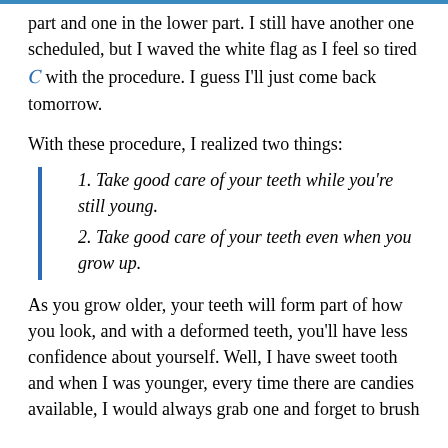part and one in the lower part. I still have another one scheduled, but I waved the white flag as I feel so tired with the procedure. I guess I'll just come back tomorrow.
With these procedure, I realized two things:
1. Take good care of your teeth while you're still young.
2. Take good care of your teeth even when you grow up.
As you grow older, your teeth will form part of how you look, and with a deformed teeth, you'll have less confidence about yourself. Well, I have sweet tooth and when I was younger, every time there are candies available, I would always grab one and forget to brush